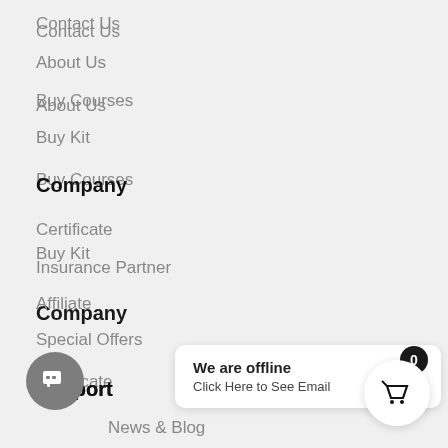Contact Us
About Us
Buy Courses
Buy Kit
Company
Certificate
Insurance Partner
Affiliate
Special Offers
Support
News & Blog
We are offline
Click Here to See Email